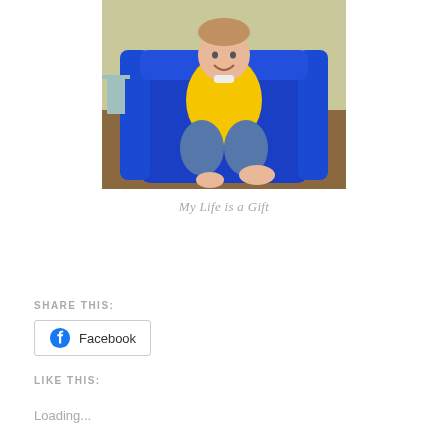[Figure (photo): Young child in a yellow t-shirt sitting in a blue plastic chair, wearing jeans and barefoot, smiling, indoors]
My Life is a Gift
SHARE THIS:
Facebook
LIKE THIS:
Loading...